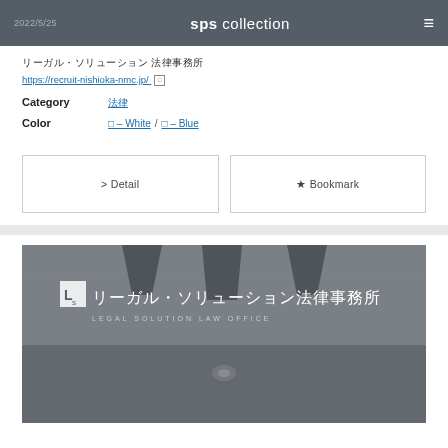2022/5/25  sps collection
リーガル・ソリューション法律事務所
https://recruit-nishioka-nmc.jp/
Category  法律
Color  □ – White / □ – Blue
> Detail
★ Bookmark
[Figure (photo): Interior photo of Legal Solution Law Office showing ceiling with pendant lighting and the office logo text リーガル・ソリューション法律事務所 / LEGAL SOLUTION LAW OFFICE in white on a dark background]